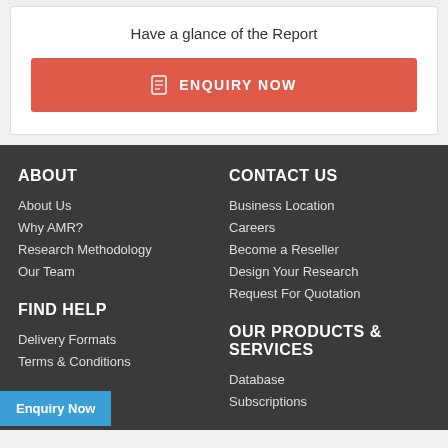Have a glance of the Report
ENQUIRY NOW
ABOUT
About Us
Why AMR?
Research Methodology
Our Team
CONTACT US
Business Location
Careers
Become a Reseller
Design Your Research
Request For Quotation
FIND HELP
OUR PRODUCTS & SERVICES
Delivery Formats
Terms & Conditions
Database
Subscriptions
Enquiry Now